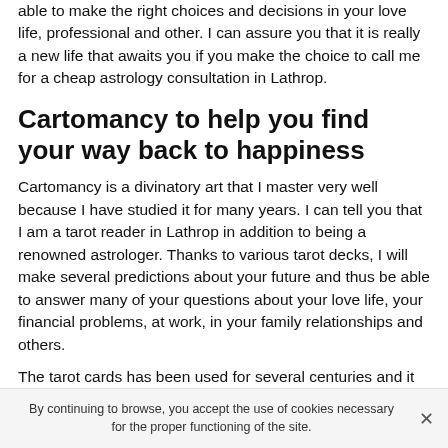able to make the right choices and decisions in your love life, professional and other. I can assure you that it is really a new life that awaits you if you make the choice to call me for a cheap astrology consultation in Lathrop.
Cartomancy to help you find your way back to happiness
Cartomancy is a divinatory art that I master very well because I have studied it for many years. I can tell you that I am a tarot reader in Lathrop in addition to being a renowned astrologer. Thanks to various tarot decks, I will make several predictions about your future and thus be able to answer many of your questions about your love life, your financial problems, at work, in your family relationships and others.
The tarot cards has been used for several centuries and it
By continuing to browse, you accept the use of cookies necessary for the proper functioning of the site.